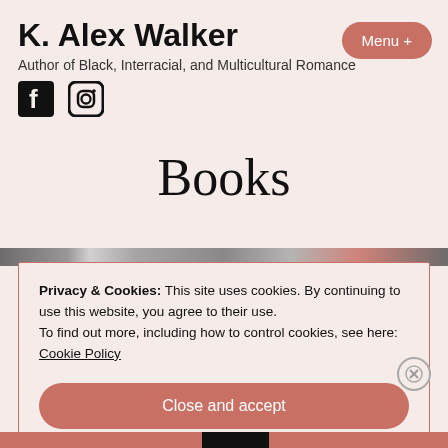K. Alex Walker
Author of Black, Interracial, and Multicultural Romance
Books
Privacy & Cookies: This site uses cookies. By continuing to use this website, you agree to their use.
To find out more, including how to control cookies, see here:
Cookie Policy
Close and accept